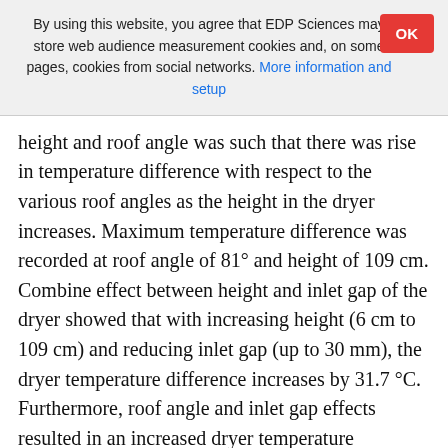By using this website, you agree that EDP Sciences may store web audience measurement cookies and, on some pages, cookies from social networks. More information and setup
height and roof angle was such that there was rise in temperature difference with respect to the various roof angles as the height in the dryer increases. Maximum temperature difference was recorded at roof angle of 81° and height of 109 cm. Combine effect between height and inlet gap of the dryer showed that with increasing height (6 cm to 109 cm) and reducing inlet gap (up to 30 mm), the dryer temperature difference increases by 31.7 °C. Furthermore, roof angle and inlet gap effects resulted in an increased dryer temperature difference. The inlet gap and roof angle when adjusted to 30 mm and 81° yield a high dryer temperature difference of 29 °C. It is observed that combine effects plot (Fig. 4), Pareto chart of standardized effects (Fig. 2), contour plot of temperature versus inlet gap and height (Fig. 3a), as well as